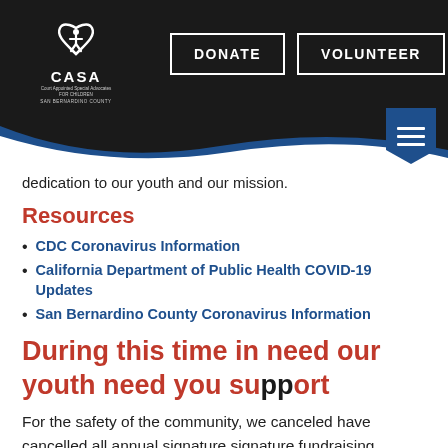CASA San Bernardino County — DONATE | VOLUNTEER
dedication to our youth and our mission.
Resources
CDC Coronavirus Information
California Department of Public Health COVID-19 Updates
San Bernardino County Coronavirus Information
During this time in need our youth need you support
For the safety of the community, we canceled have cancelled all annual signature signature fundraising